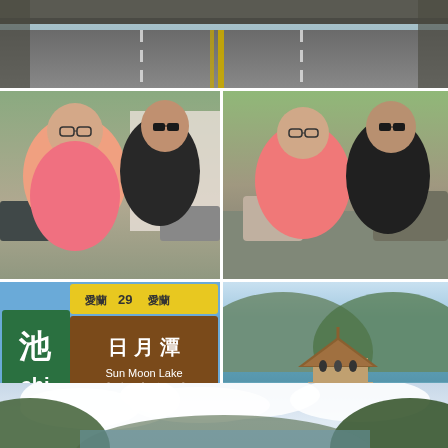[Figure (photo): Highway road view from car dashboard, lanes with yellow dividing lines, overpass or tunnel structure visible]
[Figure (photo): Two men standing outside, one in pink polo shirt with glasses laughing, one in black t-shirt with sunglasses, parked cars and green hills in background]
[Figure (photo): Same two men outdoors in parking area, man in pink shirt and man in black shirt with sunglasses, trees and mountains in background]
[Figure (photo): Road sign in Taiwan: green sign for 池/chi on left, brown directional sign showing 愛蘭 29 愛蘭, 日月潭 Sun Moon Lake, 九族文化村 Formosan Aboriginal Culture Village with arrow pointing upper right]
[Figure (photo): Sun Moon Lake view with a traditional pavilion on a dock/pier extending into calm blue-green water, mountains and trees in background]
[Figure (photo): Wide panoramic view of Sun Moon Lake area with mountains, lush greenery, dramatic clouds and blue sky]